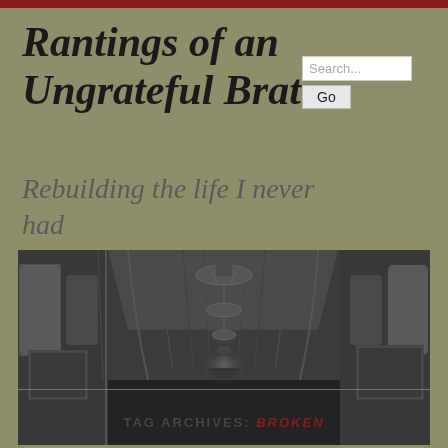Rantings of an Ungrateful Brat~
Rebuilding the life I never had
[Figure (photo): Black and white panoramic photograph of an ornate palace hallway with arched windows, chandeliers, framed paintings on the walls, and a grand corridor perspective leading to a distant vanishing point.]
TAG ARCHIVES: BROKEN